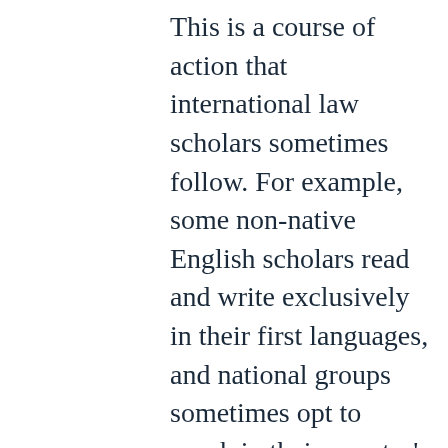This is a course of action that international law scholars sometimes follow. For example, some non-native English scholars read and write exclusively in their first languages, and national groups sometimes opt to speak in their country's language in international conferences in which such a decision means addressing only their compatriots and leaving the rest of the audience aside. In addition to the reasons mentioned by Anderson that may motivate such decisions, one should add that this kind of approach can strengthen bonds between national or regional groups. Yet, it is not cost-free. The lack of